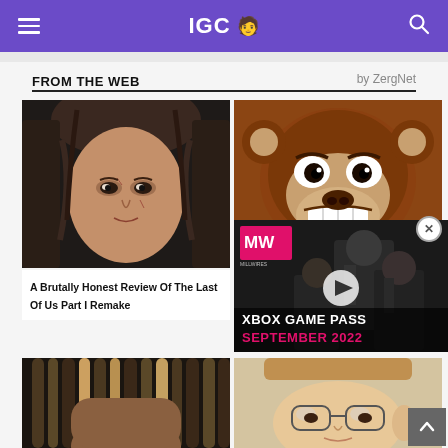IGC 🧑 (navigation header with hamburger menu and search icon)
FROM THE WEB — by ZergNet
[Figure (photo): Close-up of a young woman with dark hair, facial scratches, looking intense — character from The Last of Us Part I Remake]
A Brutally Honest Review Of The Last Of Us Part I Remake
[Figure (photo): Donkey Kong character from Nintendo video game, grinning with large teeth, brown fur]
[Figure (screenshot): MW (Multiwire/MW brand) advertisement overlay: Xbox Game Pass September 2022 promotional video with play button, soldiers in background]
[Figure (photo): Person with dreadlocks, bottom portion of image visible at bottom left]
[Figure (photo): Person wearing glasses and a hat, bottom right card area]